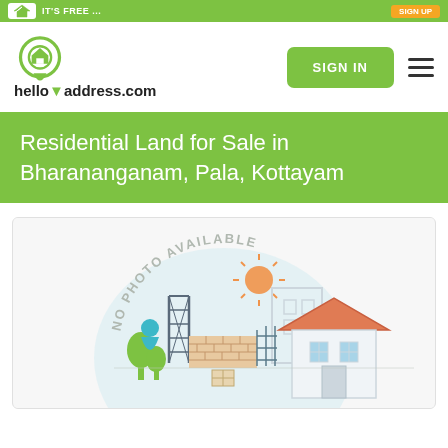IT'S FREE ... (top green bar with helloaddress.com branding)
[Figure (logo): helloaddress.com logo with house location pin icon]
Residential Land for Sale in Bharananganam, Pala, Kottayam
[Figure (illustration): No Photo Available placeholder illustration showing a city/house scene with a sun, buildings, trees, brick wall, and house with roof on a light blue circular background]